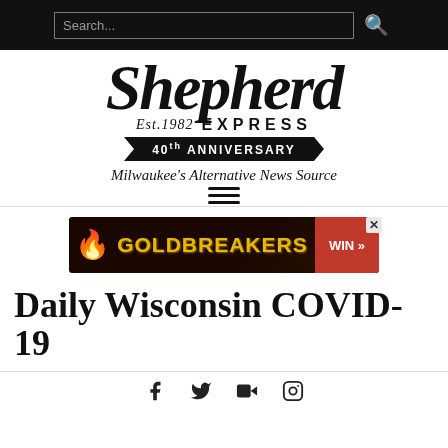Search...
[Figure (logo): Shepherd Express logo — Est. 1982, 40th Anniversary, Milwaukee's Alternative News Source]
[Figure (other): Goldbreakers advertisement banner with WIN button]
Daily Wisconsin COVID-19
[Figure (other): Social media icons: Facebook, Twitter, YouTube, Instagram]